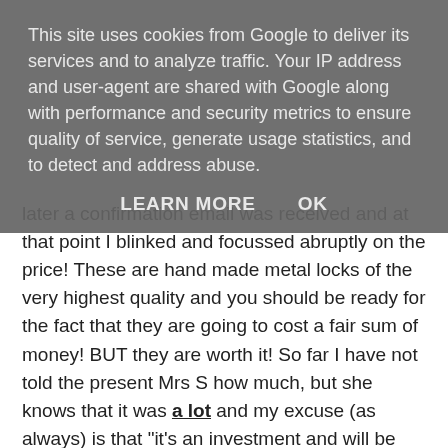This site uses cookies from Google to deliver its services and to analyze traffic. Your IP address and user-agent are shared with Google along with performance and security metrics to ensure quality of service, generate usage statistics, and to detect and address abuse.
LEARN MORE   OK
later a confirmation email was received and at that point I blinked and focussed abruptly on the price! These are hand made metal locks of the very highest quality and you should be ready for the fact that they are going to cost a fair sum of money! BUT they are worth it! So far I have not told the present Mrs S how much, but she knows that it was a lot and my excuse (as always) is that "it's an investment and will be worth much more in a year or so". She seems to have caught on to this ploy and replied that I never sell anything though - I need another excuse now - all suggestions gratefully received via my Contact form.
Kevin at 1:38 pm   6 comments:
Share